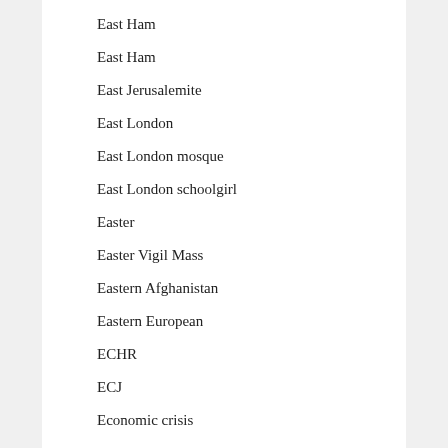East Ham
East Ham
East Jerusalemite
East London
East London mosque
East London schoolgirl
Easter
Easter Vigil Mass
Eastern Afghanistan
Eastern European
ECHR
ECJ
Economic crisis
Eddie Marsan
EDL
education
Education Minister